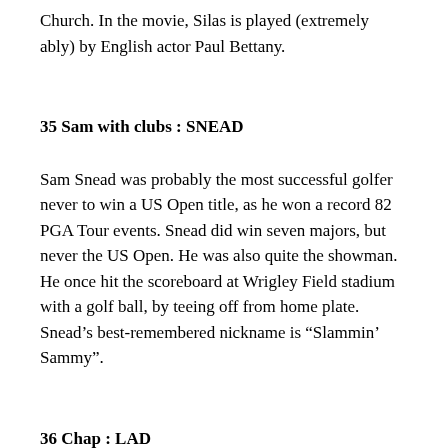Church. In the movie, Silas is played (extremely ably) by English actor Paul Bettany.
35 Sam with clubs : SNEAD
Sam Snead was probably the most successful golfer never to win a US Open title, as he won a record 82 PGA Tour events. Snead did win seven majors, but never the US Open. He was also quite the showman. He once hit the scoreboard at Wrigley Field stadium with a golf ball, by teeing off from home plate. Snead’s best-remembered nickname is “Slammin’ Sammy”.
36 Chap : LAD
“Chap” is an informal term meaning “lad, fellow”